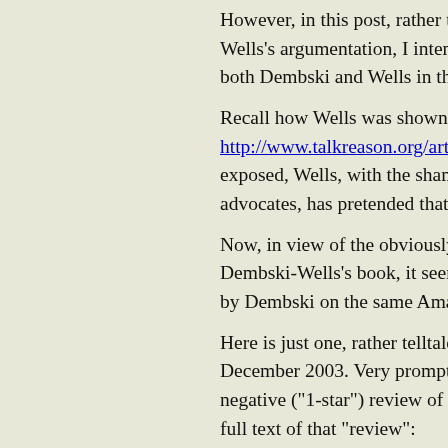However, in this post, rather than to g... Wells's argumentation, I intend to rem... both Dembski and Wells in their hyste...
Recall how Wells was shown to have ... http://www.talkreason.org/articles/ugl... exposed, Wells, with the shamelessnes... advocates, has pretended that his "crea...
Now, in view of the obviously orchest... Dembski-Wells's book, it seems prope... by Dembski on the same Amazon rea...
Here is just one, rather telltale exampl... December 2003. Very promptly, on De... negative ("1-star") review of my book... full text of that "review":
Who Are They Kidding?, Dec...
Prometheus Press is one of the m... ideologically driven presses aro... following description of the boo... Perakh's work: "This thoughtful... scientist genuinely concerned ab... enterprise wastes no diplomacy... twisted to ideological ends." If t...